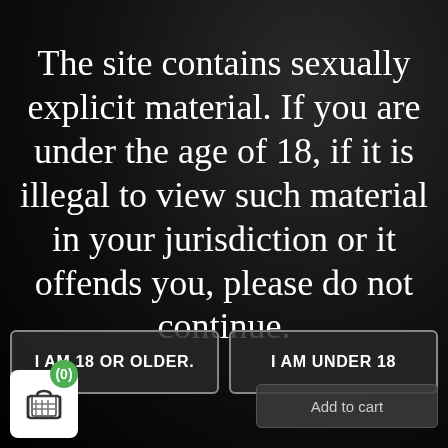The site contains sexually explicit material. If you are under the age of 18, if it is illegal to view such material in your jurisdiction or it offends you, please do not continue.
I AM 18 OR OLDER.
I AM UNDER 18
(0)
Add to cart